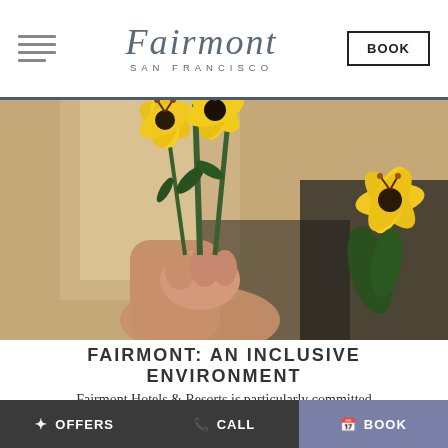[Figure (logo): Fairmont San Francisco hotel logo with script wordmark and hamburger menu icon and BOOK button]
[Figure (photo): A hand holding yellow lily flowers against a warm blurred indoor background, with additional yellow lilies on the right side]
FAIRMONT: AN INCLUSIVE ENVIRONMENT
Fairmont Hotels & Resorts is particularly committed
OFFERS  CALL  BOOK